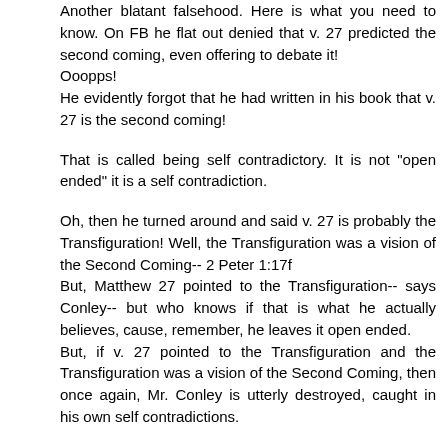Another blatant falsehood. Here is what you need to know. On FB he flat out denied that v. 27 predicted the second coming, even offering to debate it!
Ooopps!
He evidently forgot that he had written in his book that v. 27 is the second coming!
That is called being self contradictory. It is not "open ended" it is a self contradiction.
Oh, then he turned around and said v. 27 is probably the Transfiguration! Well, the Transfiguration was a vision of the Second Coming-- 2 Peter 1:17f
But, Matthew 27 pointed to the Transfiguration-- says Conley-- but who knows if that is what he actually believes, cause, remember, he leaves it open ended.
But, if v. 27 pointed to the Transfiguration and the Transfiguration was a vision of the Second Coming, then once again, Mr. Conley is utterly destroyed, caught in his own self contradictions.
Reply